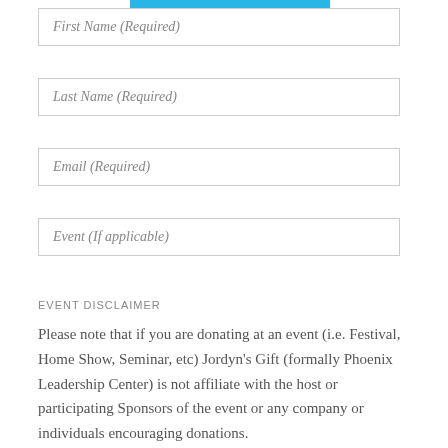First Name (Required)
Last Name (Required)
Email (Required)
Event (If applicable)
EVENT DISCLAIMER
Please note that if you are donating at an event (i.e. Festival, Home Show, Seminar, etc) Jordyn's Gift (formally Phoenix Leadership Center) is not affiliate with the host or participating Sponsors of the event or any company or individuals encouraging donations.